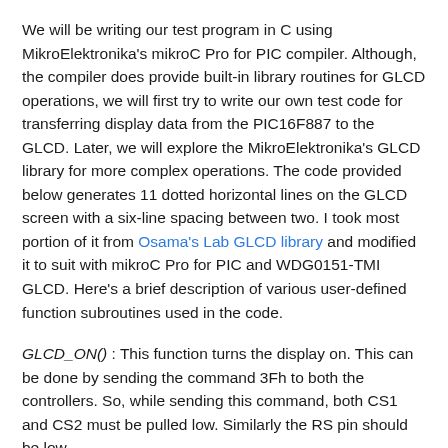We will be writing our test program in C using MikroElektronika's mikroC Pro for PIC compiler. Although, the compiler does provide built-in library routines for GLCD operations, we will first try to write our own test code for transferring display data from the PIC16F887 to the GLCD. Later, we will explore the MikroElektronika's GLCD library for more complex operations. The code provided below generates 11 dotted horizontal lines on the GLCD screen with a six-line spacing between two. I took most portion of it from Osama's Lab GLCD library and modified it to suit with mikroC Pro for PIC and WDG0151-TMI GLCD. Here's a brief description of various user-defined function subroutines used in the code.
GLCD_ON() : This function turns the display on. This can be done by sending the command 3Fh to both the controllers. So, while sending this command, both CS1 and CS2 must be pulled low. Similarly the RS pin should be low